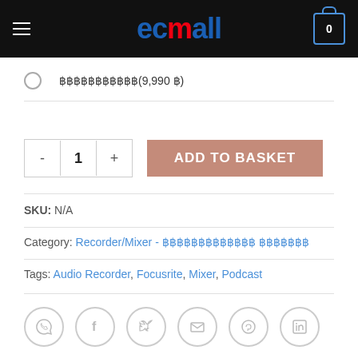[Figure (logo): EC Mall logo with hamburger menu and cart icon on black header]
฿฿฿฿฿฿฿฿฿฿฿(9,990 ฿)
- 1 + ADD TO BASKET
SKU: N/A
Category: Recorder/Mixer - ฿฿฿฿฿฿฿฿฿฿฿฿฿ ฿฿฿฿฿฿฿
Tags: Audio Recorder, Focusrite, Mixer, Podcast
[Figure (infographic): Social share icons: WhatsApp, Facebook, Twitter, Email, Pinterest, LinkedIn]